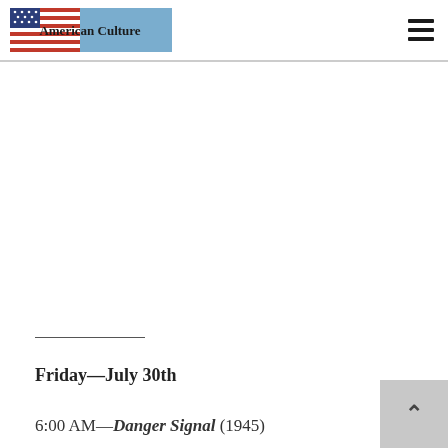American Culture
Friday—July 30th
6:00 AM—Danger Signal (1945)